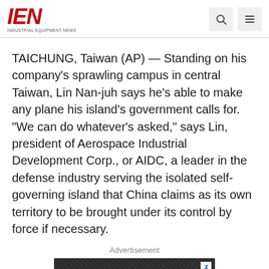IEN INDUSTRIAL EQUIPMENT NEWS
TAICHUNG, Taiwan (AP) — Standing on his company's sprawling campus in central Taiwan, Lin Nan-juh says he's able to make any plane his island's government calls for. "We can do whatever's asked," says Lin, president of Aerospace Industrial Development Corp., or AIDC, a leader in the defense industry serving the isolated self-governing island that China claims as its own territory to be brought under its control by force if necessary.
Advertisement
[Figure (other): Advertisement banner showing 'Always' text on red background with dark patterned top area and a close (X) button]